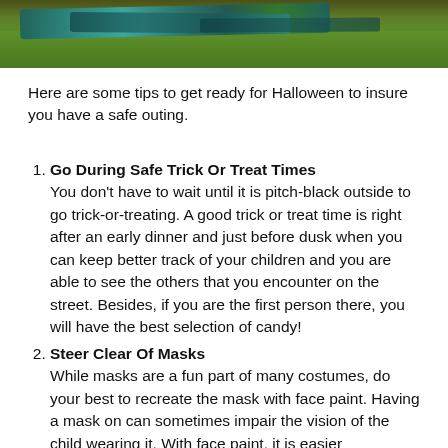[Figure (photo): Photograph of a colorful teal/green patchwork blanket or quilt laid out on green grass, viewed from above at an angle.]
Here are some tips to get ready for Halloween to insure you have a safe outing.
Go During Safe Trick Or Treat Times
You don't have to wait until it is pitch-black outside to go trick-or-treating. A good trick or treat time is right after an early dinner and just before dusk when you can keep better track of your children and you are able to see the others that you encounter on the street. Besides, if you are the first person there, you will have the best selection of candy!
Steer Clear Of Masks
While masks are a fun part of many costumes, do your best to recreate the mask with face paint. Having a mask on can sometimes impair the vision of the child wearing it. With face paint, it is easier